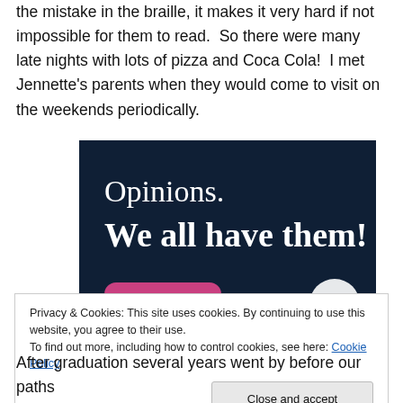the mistake in the braille, it makes it very hard if not impossible for them to read.  So there were many late nights with lots of pizza and Coca Cola!  I met Jennette's parents when they would come to visit on the weekends periodically.
[Figure (infographic): Dark navy blue advertisement banner with white text reading 'Opinions. We all have them!' with a pink button and a circular element visible at the bottom.]
Privacy & Cookies: This site uses cookies. By continuing to use this website, you agree to their use.
To find out more, including how to control cookies, see here: Cookie Policy
After graduation several years went by before our paths